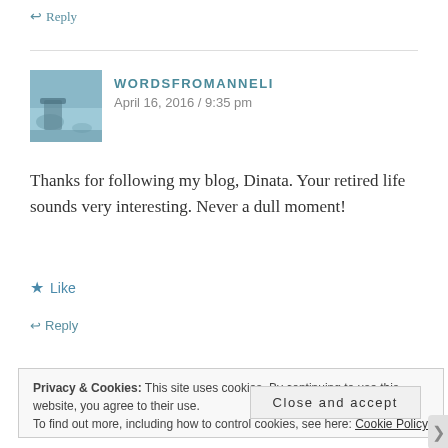↩ Reply
WORDSFROMANNELI
April 16, 2016 / 9:35 pm
Thanks for following my blog, Dinata. Your retired life sounds very interesting. Never a dull moment!
★ Like
↩ Reply
Privacy & Cookies: This site uses cookies. By continuing to use this website, you agree to their use.
To find out more, including how to control cookies, see here: Cookie Policy
Close and accept